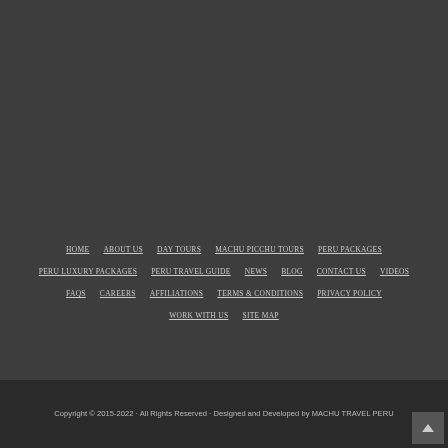HOME
ABOUT US
DAY TOURS
MACHU PICCHU TOURS
PERU PACKAGES
PERU LUXURY PACKAGES
PERU TRAVEL GUIDE
NEWS
BLOG
CONTACT US
VIDEOS
FAQS
CAREERS
AFFILIATIONS
TERMS & CONDITIONS
PRIVACY POLICY
WORK WITH US
SITE MAP
Copyright © 2015-2022 · All Rights Reserved · Designed and Developed by MACHU TRAVEL PERU